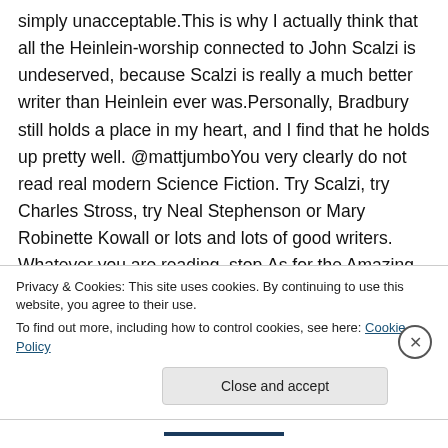simply unacceptable.This is why I actually think that all the Heinlein-worship connected to John Scalzi is undeserved, because Scalzi is really a much better writer than Heinlein ever was.Personally, Bradbury still holds a place in my heart, and I find that he holds up pretty well. @mattjumboYou very clearly do not read real modern Science Fiction. Try Scalzi, try Charles Stross, try Neal Stephenson or Mary Robinette Kowall or lots and lots of good writers. Whatever you are reading, stop.As for the Amazing ideas
Privacy & Cookies: This site uses cookies. By continuing to use this website, you agree to their use.
To find out more, including how to control cookies, see here: Cookie Policy
Close and accept